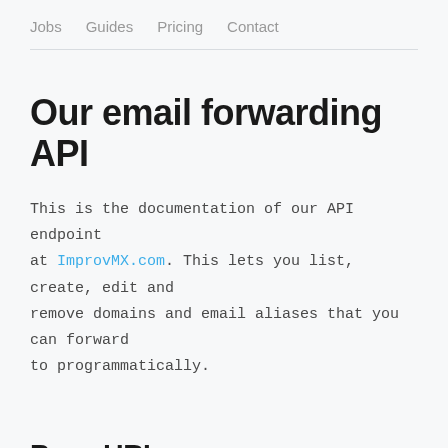Jobs  Guides  Pricing  Contact
Our email forwarding API
This is the documentation of our API endpoint at ImprovMX.com. This lets you list, create, edit and remove domains and email aliases that you can forward to programmatically.
Base URL
The base URL of ImprovMX's API can be accessed at